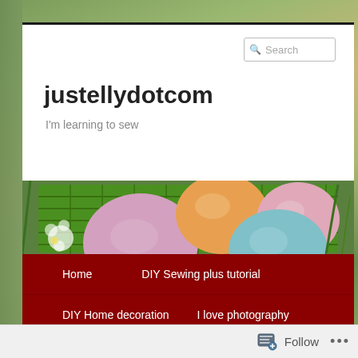justellydotcom
I'm learning to sew
[Figure (photo): Colorful Easter eggs (pink, orange, yellow, blue) in a green wicker basket with flowers and grass in background]
Home
DIY Sewing plus tutorial
DIY Home decoration
I love photography
Follow ...